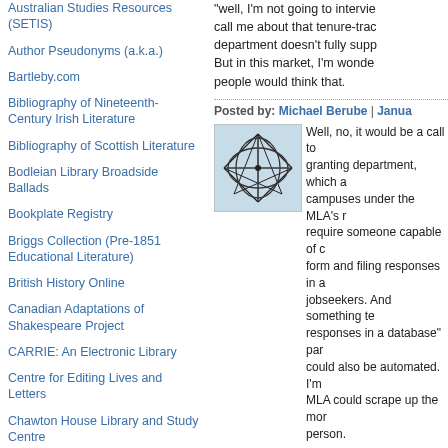Australian Studies Resources (SETIS)
Author Pseudonyms (a.k.a.)
Bartleby.com
Bibliography of Nineteenth-Century Irish Literature
Bibliography of Scottish Literature
Bodleian Library Broadside Ballads
Bookplate Registry
Briggs Collection (Pre-1851 Educational Literature)
British History Online
Canadian Adaptations of Shakespeare Project
CARRIE: An Electronic Library
Centre for Editing Lives and Letters
Chawton House Library and Study Centre
Connected Histories
COPAC Home Page: University Research Library Catalogue
"well, I'm not going to interview you, but call me about that tenure-track job if your department doesn't fully support you" line. But in this market, I'm wondering if people would think that.
Posted by: Michael Berube | Janua
[Figure (illustration): Abstract network diagram with dark lines on light blue background]
Well, no, it would be a call to the granting department, which at some campuses under the MLA's r require someone capable of c form and filing responses in a jobseekers. And something te responses in a database" par could also be automated. I'm MLA could scrape up the mor person.
My little fantasy here is about either begin subsidizing the g on churning out, or to take th indeed, would be to save eve